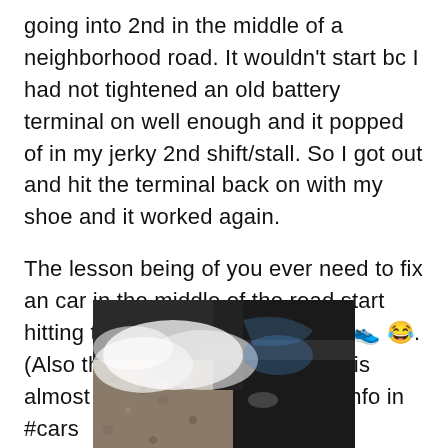going into 2nd in the middle of a neighborhood road. It wouldn't start bc I had not tightened an old battery terminal on well enough and it popped of in my jerky 2nd shift/stall. So I got out and hit the terminal back on with my shoe and it worked again.
The lesson being of you ever need to fix an car in the middle of the road start hitting the engine with your shoe 👟 😂. (Also the smog is temporary and is almost all gone now) I put more info in #cars
[Figure (photo): A close-up photo of a car's underside or wheel area showing smoke or smog, with dark background and gravel or road surface visible.]